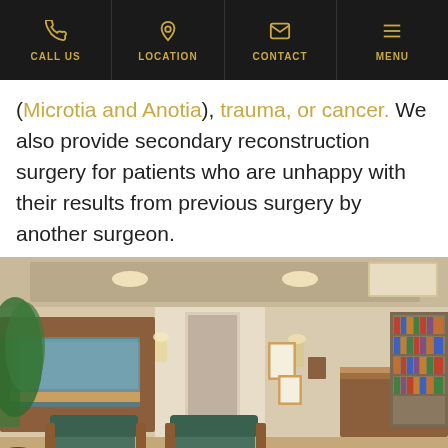CALL US | LOCATION | CONTACT | MENU
(Microtia and Anotia), trauma, or cancer. We also provide secondary reconstruction surgery for patients who are unhappy with their results from previous surgery by another surgeon.
[Figure (photo): Interior of a medical office reception area with wood paneling, aquarium, framed certificates on wall, reception desk, green chairs, and a potted tree.]